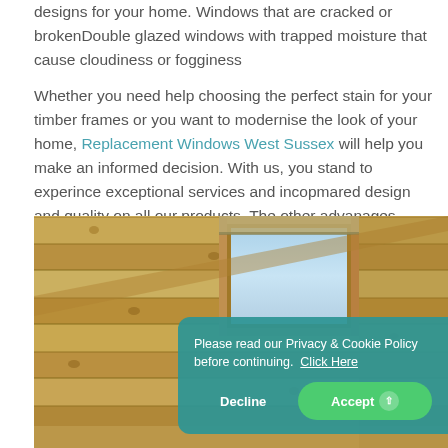designs for your home. Windows that are cracked or brokenDouble glazed windows with trapped moisture that cause cloudiness or fogginess
Whether you need help choosing the perfect stain for your timber frames or you want to modernise the look of your home, Replacement Windows West Sussex will help you make an informed decision. With us, you stand to experince exceptional services and incopmared design and quality on all our products. The other advanages include:
[Figure (photo): Interior photo looking up at a wooden ceiling with a skylight window, showing natural wood planks and a view of the sky through the window]
Please read our Privacy & Cookie Policy before continuing. Click Here